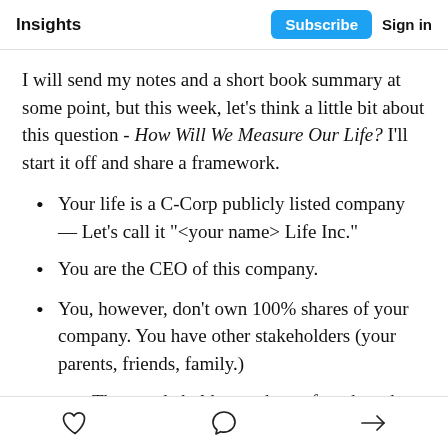Insights | Subscribe | Sign in
I will send my notes and a short book summary at some point, but this week, let's think a little bit about this question - How Will We Measure Our Life? I'll start it off and share a framework.
Your life is a C-Corp publicly listed company — Let's call it "<your name> Life Inc."
You are the CEO of this company.
You, however, don't own 100% shares of your company. You have other stakeholders (your parents, friends, family.)
These stakeholders make up for a board